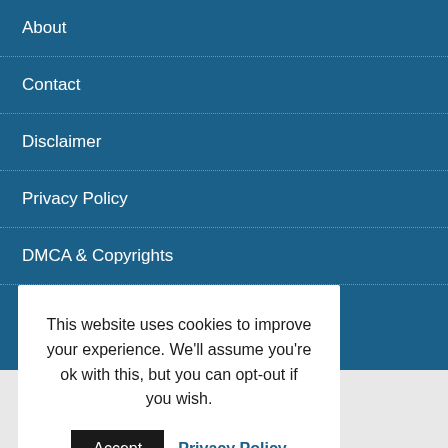About
Contact
Disclaimer
Privacy Policy
DMCA & Copyrights
REACH US
This website uses cookies to improve your experience. We'll assume you're ok with this, but you can opt-out if you wish.
Accept   Privacy Policy